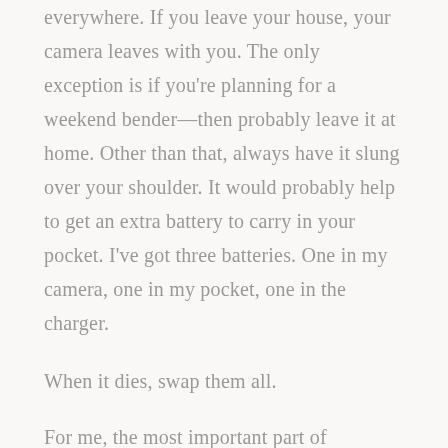everywhere. If you leave your house, your camera leaves with you. The only exception is if you're planning for a weekend bender—then probably leave it at home. Other than that, always have it slung over your shoulder. It would probably help to get an extra battery to carry in your pocket. I've got three batteries. One in my camera, one in my pocket, one in the charger.
When it dies, swap them all.
For me, the most important part of improving at photography has been sharing it. Sign up for an Exposure account, or post regularly to Tumblr, or